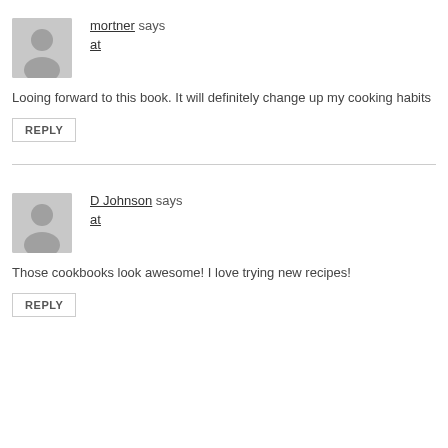mortner says
at
Looing forward to this book. It will definitely change up my cooking habits
REPLY
D Johnson says
at
Those cookbooks look awesome! I love trying new recipes!
REPLY